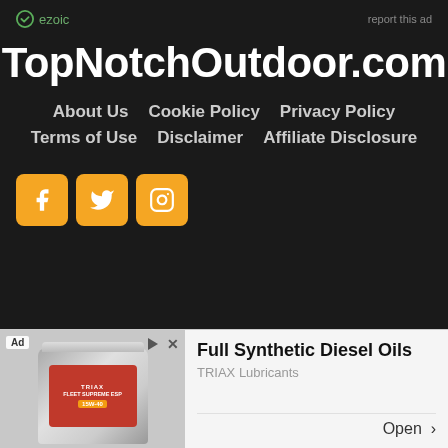ezoic   report this ad
TopNotchOutdoor.com
About Us
Cookie Policy
Privacy Policy
Terms of Use
Disclaimer
Affiliate Disclosure
[Figure (infographic): Social media icons: Facebook, Twitter, Instagram — orange rounded square buttons]
[Figure (infographic): Advertisement banner: Full Synthetic Diesel Oils by TRIAX Lubricants with product image of FLEET SUPREME ESP motor oil canister]